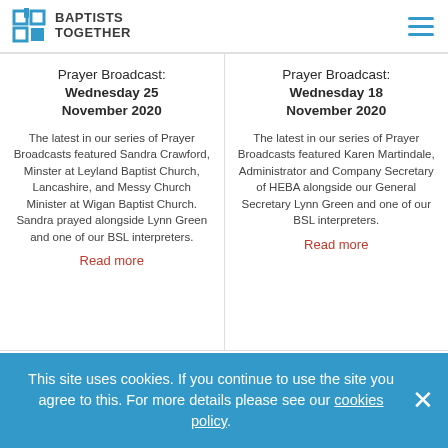Baptists Together
Prayer Broadcast: Wednesday 25 November 2020
The latest in our series of Prayer Broadcasts featured Sandra Crawford, Minster at Leyland Baptist Church, Lancashire, and Messy Church Minister at Wigan Baptist Church. Sandra prayed alongside Lynn Green and one of our BSL interpreters.
Read more
Prayer Broadcast: Wednesday 18 November 2020
The latest in our series of Prayer Broadcasts featured Karen Martindale, Administrator and Company Secretary of HEBA alongside our General Secretary Lynn Green and one of our BSL interpreters.
Read more
This site uses cookies. If you continue to use the site you agree to this. For more details please see our cookies policy.